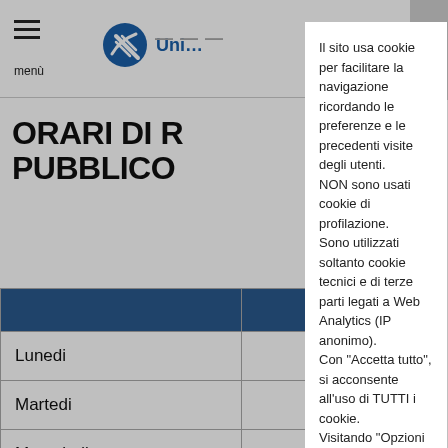menù | Uni [logo]
ORARI DI R… PUBBLICO
|  |
| --- |
| Lunedi |
| Martedi |
| Mercoledi |
Il sito usa cookie per facilitare la navigazione ricordando le preferenze e le precedenti visite degli utenti. NON sono usati cookie di profilazione. Sono utilizzati soltanto cookie tecnici e di terze parti legati a Web Analytics (IP anonimo). Con "Accetta tutto", si acconsente all'uso di TUTTI i cookie. Visitando "Opzioni Cookie" si può dare un consenso differenziato. Per maggiori informazioni: Leggi tutto
Opzioni Cookie | Rifiuta tutti | Accetta tutto